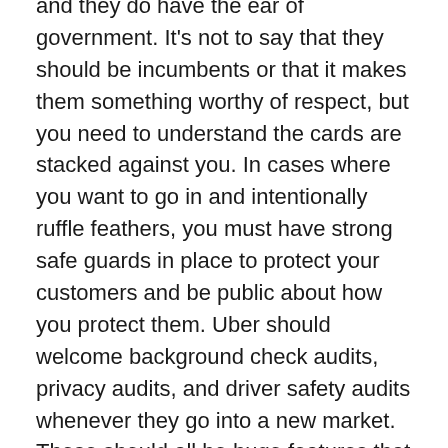and they do have the ear of government. It's not to say that they should be incumbents or that it makes them something worthy of respect, but you need to understand the cards are stacked against you. In cases where you want to go in and intentionally ruffle feathers, you must have strong safe guards in place to protect your customers and be public about how you protect them. Uber should welcome background check audits, privacy audits, and driver safety audits whenever they go into a new market. These should all be huge features that they brag about and let people under the hood to actually see.
I think it's time that companies like Uber start treating our data as if it's Personal Health Information, which is protected by Health Information Portability and Accountability Act (aka that HIPAA agreement you sign at